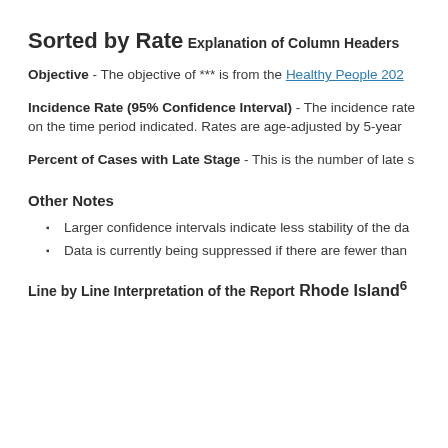Sorted by Rate
Explanation of Column Headers
Objective - The objective of *** is from the Healthy People 202...
Incidence Rate (95% Confidence Interval) - The incidence rate on the time period indicated. Rates are age-adjusted by 5-year ...
Percent of Cases with Late Stage - This is the number of late s...
Other Notes
Larger confidence intervals indicate less stability of the da...
Data is currently being suppressed if there are fewer than...
Line by Line Interpretation of the Report
Rhode Island⁶